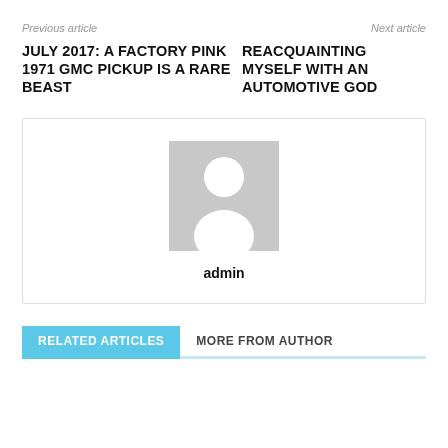Previous article
Next article
JULY 2017: A FACTORY PINK 1971 GMC PICKUP IS A RARE BEAST
REACQUAINTING MYSELF WITH AN AUTOMOTIVE GOD
[Figure (illustration): Default user avatar placeholder: grey square with white silhouette of a person (head circle and body shape)]
admin
RELATED ARTICLES
MORE FROM AUTHOR